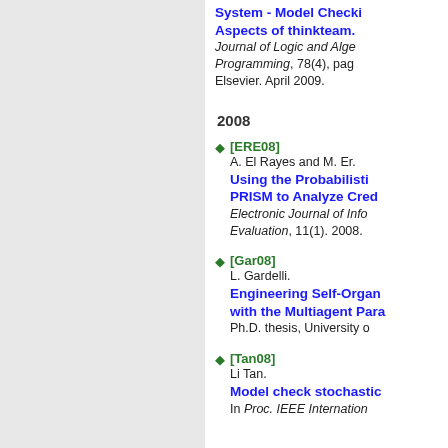System - Model Checking Aspects of thinkteam.
Journal of Logic and Algebraic Programming, 78(4), pages... Elsevier. April 2009.
2008
[ERE08] A. El Rayes and M. Er. Using the Probabilistic PRISM to Analyze Credit... Electronic Journal of Info... Evaluation, 11(1). 2008.
[Gar08] L. Gardelli. Engineering Self-Organ... with the Multiagent Para... Ph.D. thesis, University o...
[Tan08] Li Tan. Model check stochastic... In Proc. IEEE Internation...